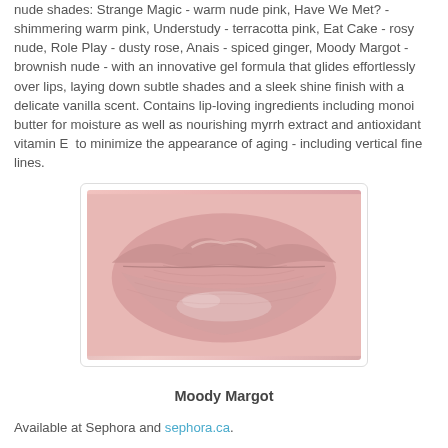nude shades: Strange Magic - warm nude pink, Have We Met? - shimmering warm pink, Understudy - terracotta pink, Eat Cake - rosy nude, Role Play - dusty rose, Anais - spiced ginger, Moody Margot - brownish nude - with an innovative gel formula that glides effortlessly over lips, laying down subtle shades and a sleek shine finish with a delicate vanilla scent. Contains lip-loving ingredients including monoi butter for moisture as well as nourishing myrrh extract and antioxidant vitamin E  to minimize the appearance of aging - including vertical fine lines.
[Figure (photo): Close-up photo of lips with a sheer pinkish nude lip product applied, showing the texture and shine of the product. The lips appear soft and natural with subtle color.]
Moody Margot
Available at Sephora and sephora.ca.